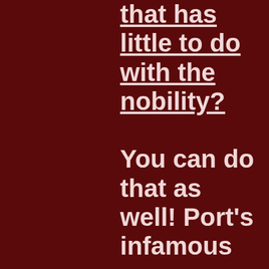that has little to do with the nobility? You can do that as well! Port's infamous sewers house a